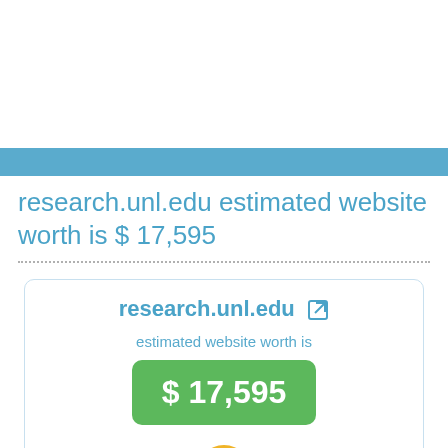research.unl.edu estimated website worth is $ 17,595
research.unl.edu
estimated website worth is
$ 17,595